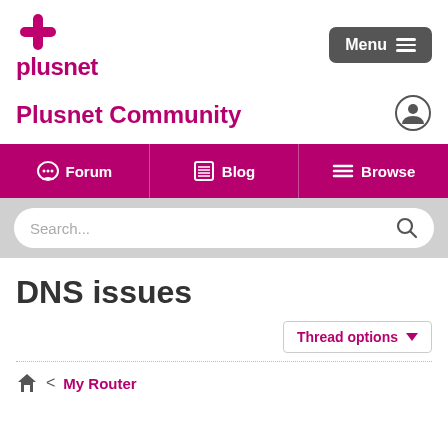[Figure (logo): Plusnet logo: pink cross/plus icon above the word 'plusnet' in bold magenta-pink]
[Figure (other): Menu button: dark grey rounded rectangle with 'Menu' text and three horizontal lines icon]
Plusnet Community
[Figure (other): User/account icon: circle with person silhouette]
[Figure (other): Navigation bar with three items: Forum (chat bubble icon), Blog (document icon), Browse (lines icon), on magenta/pink background]
[Figure (other): Search bar with placeholder text 'Search...' and magnifying glass icon, on light grey background]
DNS issues
[Figure (other): Thread options button with dropdown arrow]
My Router
[Figure (other): Breadcrumb navigation: home icon, chevron, 'My Router' link in pink]